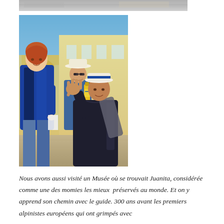[Figure (photo): Top partial photo cropped at top of page, showing outdoor scene, partially visible]
[Figure (photo): Photo of three people on a street: a woman in a blue puffer jacket on the left, a man in a hat holding a yellow bottle in the background, and a boy in a dark sweatshirt and white hat with a blue stripe in the foreground gesturing with his hand. The street has an arched yellow building in the background.]
Nous avons aussi visité un Musée où se trouvait Juanita, considérée comme une des momies les mieux  préservés au monde. Et on y apprend son chemin avec le guide. 300 ans avant les premiers alpinistes européens qui ont grimpés avec